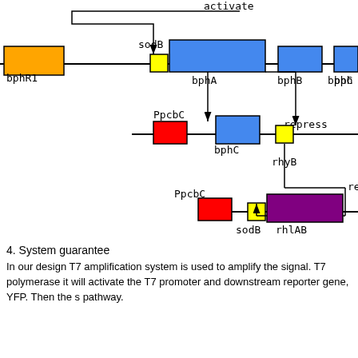[Figure (flowchart): Genetic regulatory network diagram showing bphR1, bphA, bphB, bphC, bph genes on top strand; PpcbC, bphC, rhyB on middle strand; PpcbC, sodB, rhlAB on bottom strand. Arrows indicate activate and repress regulatory relationships. sodB label appears at top with an activate arrow. RhyB represses connections shown.]
4. System guarantee
In our design T7 amplification system is used to amplify the signal. T7 polymerase it will activate the T7 promoter and downstream reporter gene, YFP. Then the s pathway.